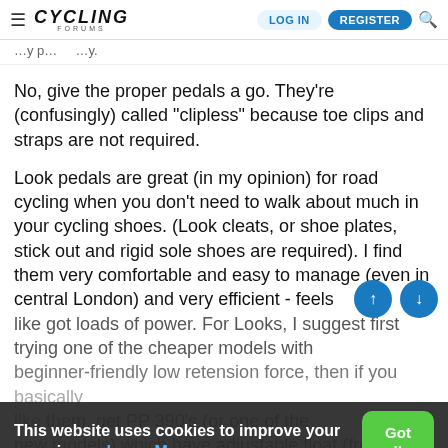≡ CYCLING FORUMS  LOG IN  REGISTER 🔍
No, give the proper pedals a go. They're (confusingly) called "clipless" because toe clips and straps are not required.
Look pedals are great (in my opinion) for road cycling when you don't need to walk about much in your cycling shoes. (Look cleats, or shoe plates, stick out and rigid sole shoes are required). I find them very comfortable and easy to manage (even in central London) and very efficient - feels like got loads of power. For Looks, I suggest first trying one of the cheaper models with beginner-friendly low retension force, then if you basically like them, get PP 390's (or one of the new models) which have adjustable float (from 0 to 9
This website uses cookies to improve your experience. Learn More